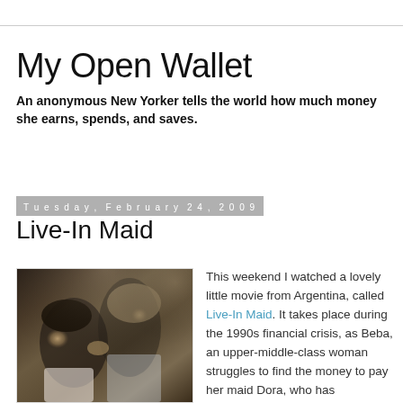My Open Wallet
An anonymous New Yorker tells the world how much money she earns, spends, and saves.
Tuesday, February 24, 2009
Live-In Maid
[Figure (photo): Two women in a scene from the Argentine film Live-In Maid, one touching the other's face]
This weekend I watched a lovely little movie from Argentina, called Live-In Maid. It takes place during the 1990s financial crisis, as Beba, an upper-middle-class woman struggles to find the money to pay her maid Dora, who has